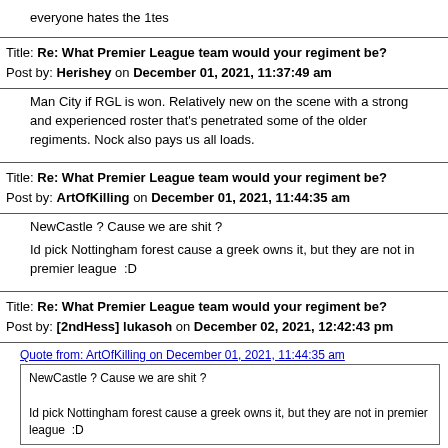everyone hates the 1tes
Title: Re: What Premier League team would your regiment be?
Post by: Herishey on December 01, 2021, 11:37:49 am
Man City if RGL is won. Relatively new on the scene with a strong and experienced roster that's penetrated some of the older regiments. Nock also pays us all loads.
Title: Re: What Premier League team would your regiment be?
Post by: ArtOfKilling on December 01, 2021, 11:44:35 am
NewCastle ? Cause we are shit ?
Id pick Nottingham forest cause a greek owns it, but they are not in premier league  ;D
Title: Re: What Premier League team would your regiment be?
Post by: [2ndHess] lukasoh on December 02, 2021, 12:42:43 pm
Quote from: ArtOfKilling on December 01, 2021, 11:44:35 am
NewCastle ? Cause we are shit ?

Id pick Nottingham forest cause a greek owns it, but they are not in premier league  ;D